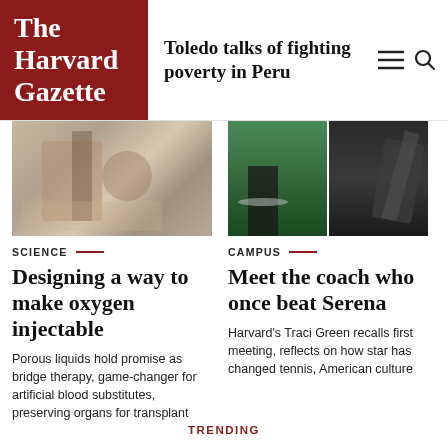The Harvard Gazette
Toledo talks of fighting poverty in Peru
[Figure (photo): Lab researcher with purple glove working with equipment]
SCIENCE
Designing a way to make oxygen injectable
Porous liquids hold promise as bridge therapy, game-changer for artificial blood substitutes, preserving organs for transplant
[Figure (photo): Two tennis images: player on court and person holding racket]
CAMPUS
Meet the coach who once beat Serena
Harvard's Traci Green recalls first meeting, reflects on how star has changed tennis, American culture
TRENDING